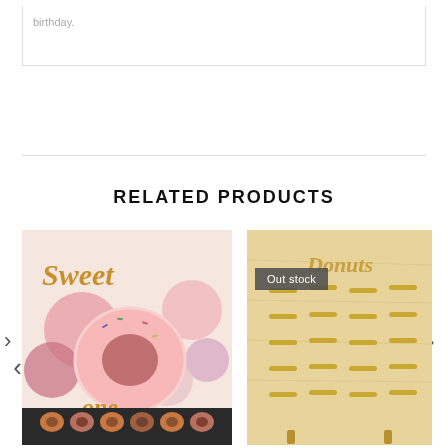birthday.
RELATED PRODUCTS
[Figure (photo): Party decoration photo showing 'Sweet One' balloons with a large pink donut balloon and colorful balloons, a donut wall display at the bottom.]
[Figure (photo): Wooden donut wall board with 'Donuts' script, featuring multiple gold pegs arranged in rows for holding donuts. Shows 'Out stock' badge overlay.]